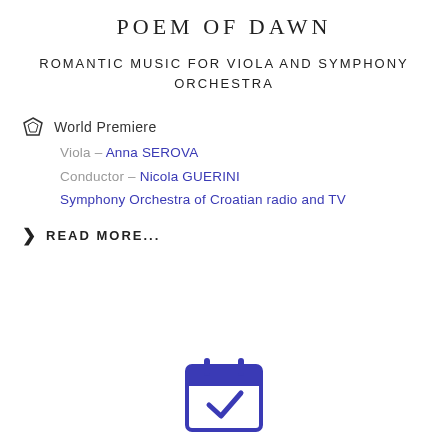POEM OF DAWN
ROMANTIC MUSIC FOR VIOLA AND SYMPHONY ORCHESTRA
♦ World Premiere
Viola – Anna SEROVA
Conductor – Nicola GUERINI
Symphony Orchestra of Croatian radio and TV
READ MORE...
[Figure (illustration): Blue calendar icon with a checkmark, representing an event or booking confirmation.]